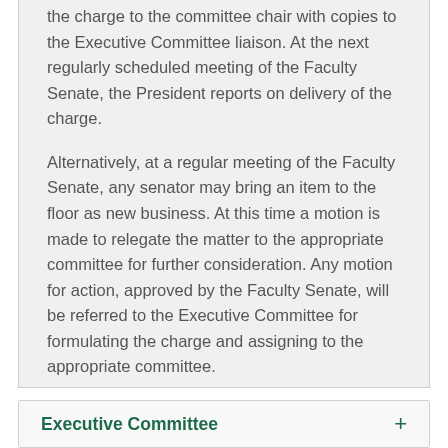the charge to the committee chair with copies to the Executive Committee liaison. At the next regularly scheduled meeting of the Faculty Senate, the President reports on delivery of the charge.
Alternatively, at a regular meeting of the Faculty Senate, any senator may bring an item to the floor as new business. At this time a motion is made to relegate the matter to the appropriate committee for further consideration. Any motion for action, approved by the Faculty Senate, will be referred to the Executive Committee for formulating the charge and assigning to the appropriate committee.
Executive Committee